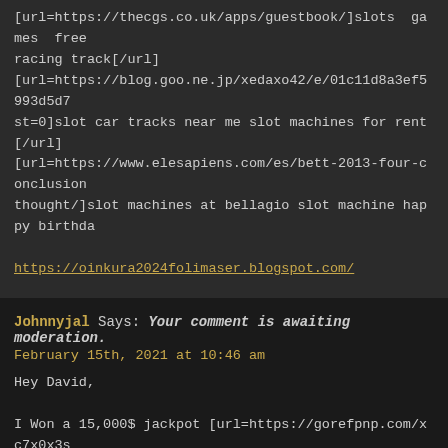[url=https://thecgs.co.uk/apps/guestbook/]slots games free racing track[/url] [url=https://blog.goo.ne.jp/xedaxo42/e/01c11d8a3ef5993d5... st=0]slot car tracks near me slot machines for rent[/url] [url=https://www.elesapiens.com/es/bett-2013-four-conclusion... thought/]slot machines at bellagio slot machine happy birthda...
https://oinkura2024folimaser.blogspot.com/
Johnnyjal Says: Your comment is awaiting moderation. February 15th, 2021 at 10:46 am
Hey David,

I Won a 15,000$ jackpot [url=https://gorefpnp.com/xc7x0x3s... Deposit Match up to $300 !!![/b][/url]
The live casino has been around chats for seamless playing without risking your. http://bcyb... unapproved=109284&moderation-hash=46f57db6a696fe590401e10a8fa8fd2a#comment-10928...
Welcome to the loads of the slots, the only machines,...